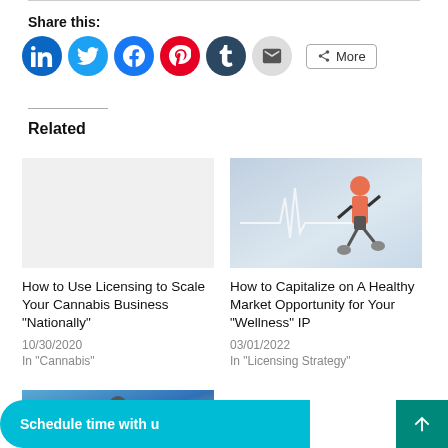Share this:
[Figure (infographic): Social sharing icons: LinkedIn, Twitter, Facebook, Pinterest, Tumblr, Email, and More button]
Related
[Figure (photo): Runner image: woman in orange top running, with health monitor chart overlay]
How to Use Licensing to Scale Your Cannabis Business “Nationally”
10/30/2020
In “Cannabis”
How to Capitalize on A Healthy Market Opportunity for Your “Wellness” IP
03/01/2022
In “Licensing Strategy”
[Figure (photo): People around a table with papers and a map, collaborative meeting]
Schedule time with u